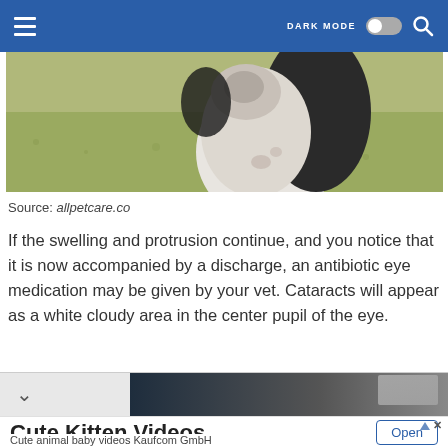☰  DARK MODE  🔍
[Figure (photo): A dog with white and black fur looking up/backward, with a grassy background. Partial view showing the dog's neck and chest area.]
Source: allpetcare.co
If the swelling and protrusion continue, and you notice that it is now accompanied by a discharge, an antibiotic eye medication may be given by your vet. Cataracts will appear as a white cloudy area in the center pupil of the eye.
[Figure (photo): Partial view of a dark-toned image, likely another pet photo, visible at the bottom strip with a chevron/arrow icon.]
Cute Kitten Videos
Cute animal baby videos Kaufcom GmbH